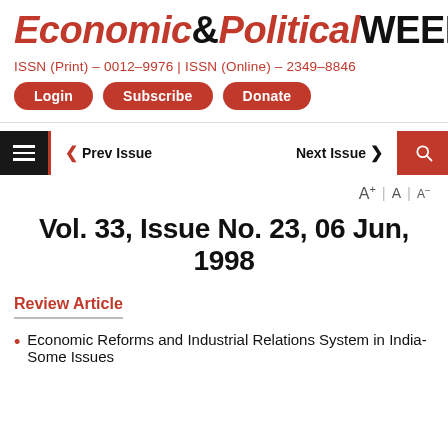Economic&Political WEEKLY
ISSN (Print) - 0012-9976 | ISSN (Online) - 2349-8846
Login | Subscribe | Donate
< Prev Issue    Next Issue >
A+ | A | A-
Vol. 33, Issue No. 23, 06 Jun, 1998
Review Article
Economic Reforms and Industrial Relations System in India-Some Issues